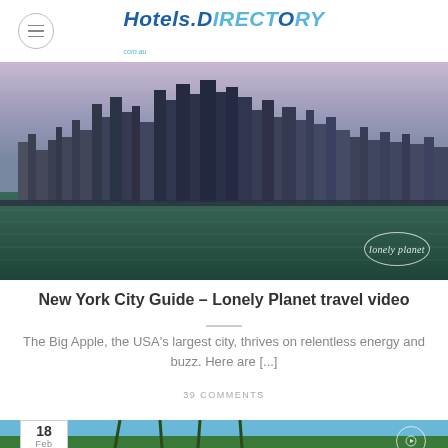Hotels.Directory
[Figure (photo): New York City skyline panorama viewed from across the water at dusk/twilight, showing dense skyscrapers, with 'lonely planet' watermark circle in bottom right]
New York City Guide – Lonely Planet travel video
The Big Apple, the USA's largest city, thrives on relentless energy and buzz. Here are [...]
39 COMMENTS
[Figure (photo): Tropical beach scene with palm trees against blue sky, date badge showing '18 Feb' in lower left corner]